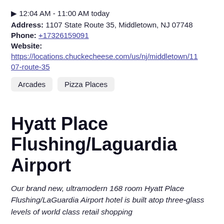▶ 12:04 AM - 11:00 AM today
Address: 1107 State Route 35, Middletown, NJ 07748
Phone: +17326159091
Website:
https://locations.chuckecheese.com/us/nj/middletown/1107-route-35
Arcades
Pizza Places
Hyatt Place Flushing/Laguardia Airport
Our brand new, ultramodern 168 room Hyatt Place Flushing/LaGuardia Airport hotel is built atop three-glass levels of world class retail shopping